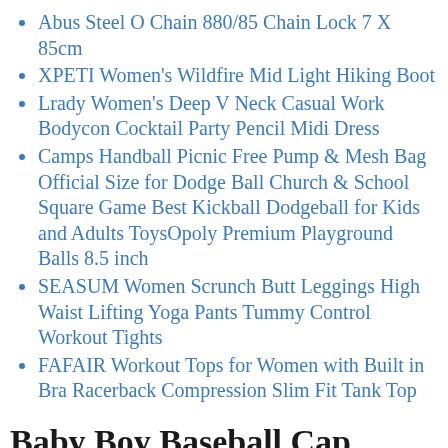Abus Steel O Chain 880/85 Chain Lock 7 X 85cm
XPETI Women's Wildfire Mid Light Hiking Boot
Lrady Women's Deep V Neck Casual Work Bodycon Cocktail Party Pencil Midi Dress
Camps Handball Picnic Free Pump & Mesh Bag Official Size for Dodge Ball Church & School Square Game Best Kickball Dodgeball for Kids and Adults ToysOpoly Premium Playground Balls 8.5 inch
SEASUM Women Scrunch Butt Leggings High Waist Lifting Yoga Pants Tummy Control Workout Tights
FAFAIR Workout Tops for Women with Built in Bra Racerback Compression Slim Fit Tank Top
Baby Boy Baseball Cap Striped Sunhat Letter Sun Protection